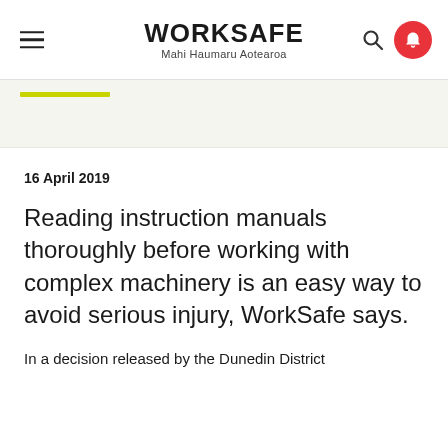WORKSAFE Mahi Haumaru Aotearoa
16 April 2019
Reading instruction manuals thoroughly before working with complex machinery is an easy way to avoid serious injury, WorkSafe says.
In a decision released by the Dunedin District